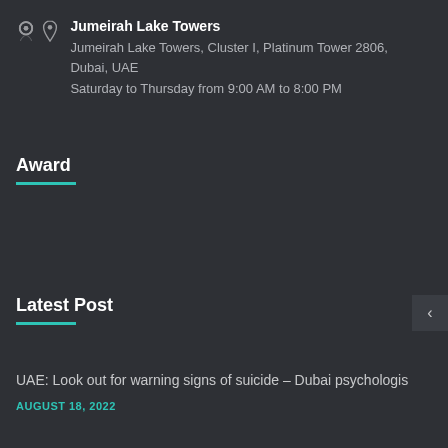Jumeirah Lake Towers
Jumeirah Lake Towers, Cluster I, Platinum Tower 2806, Dubai, UAE
Saturday to Thursday from 9:00 AM to 8:00 PM
Award
Latest Post
UAE: Look out for warning signs of suicide – Dubai psychologis
AUGUST 18, 2022